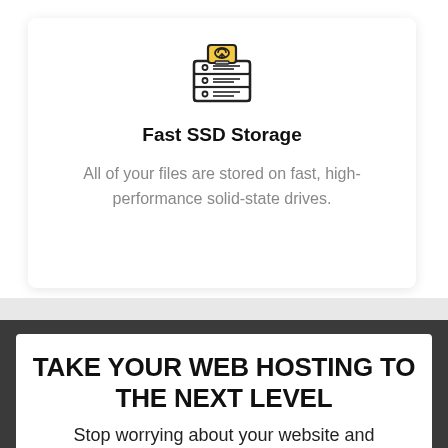[Figure (illustration): Icon of a server/storage unit with a cloud upload symbol on a yellow/orange background, drawn in outline style]
Fast SSD Storage
All of your files are stored on fast, high-performance solid-state drives.
TAKE YOUR WEB HOSTING TO THE NEXT LEVEL
Stop worrying about your website and